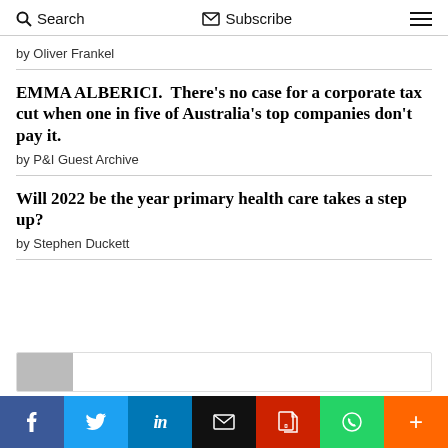Search   Subscribe   ☰
by Oliver Frankel
EMMA ALBERICI.  There's no case for a corporate tax cut when one in five of Australia's top companies don't pay it.
by P&I Guest Archive
Will 2022 be the year primary health care takes a step up?
by Stephen Duckett